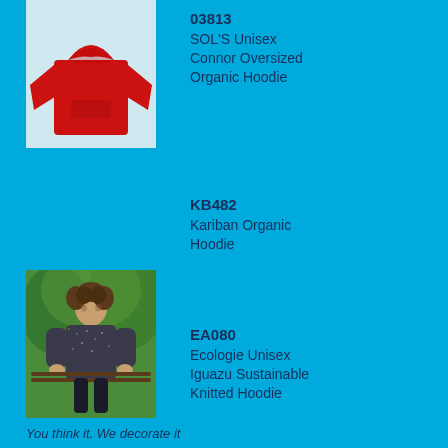[Figure (photo): Red oversized hoodie product photo on cyan background]
03813
SOL'S Unisex Connor Oversized Organic Hoodie
KB482
Kariban Organic Hoodie
[Figure (photo): Man wearing dark speckled knitted hoodie outdoors]
EA080
Ecologie Unisex Iguazu Sustainable Knitted Hoodie
You think it. We decorate it